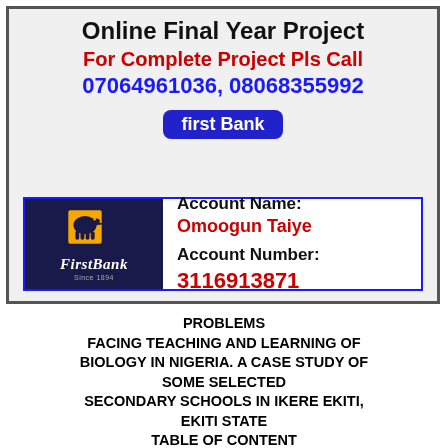Online Final Year Project
For Complete Project Pls Call
07064961036, 08068355992
first Bank
[Figure (logo): FirstBank Nigeria logo — dark navy background with orange elephant silhouette on yellow square, italic white text 'FirstBank' with 'Since 1894' below]
Account Name: Omoogun Taiye Account Number: 3116913871
PROBLEMS FACING TEACHING AND LEARNING OF BIOLOGY IN NIGERIA. A CASE STUDY OF SOME SELECTED SECONDARY SCHOOLS IN IKERE EKITI, EKITI STATE TABLE OF CONTENT CHAPTER ONE: INTRODUCTION